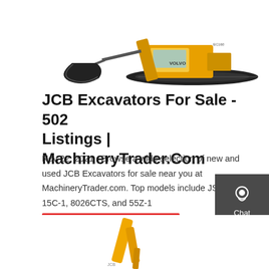[Figure (photo): Yellow Volvo crawler excavator with large bucket attachment, viewed from the side, on a white background.]
JCB Excavators For Sale - 502 Listings | MachineryTrader.Com
Nov 22, 2021 · Browse a wide selection of new and used JCB Excavators for sale near you at MachineryTrader.com. Top models include JS130 LC, 15C-1, 8026CTS, and 55Z-1
Get a quote
[Figure (photo): Yellow excavator arm/boom photographed from below against white background, bottom of page.]